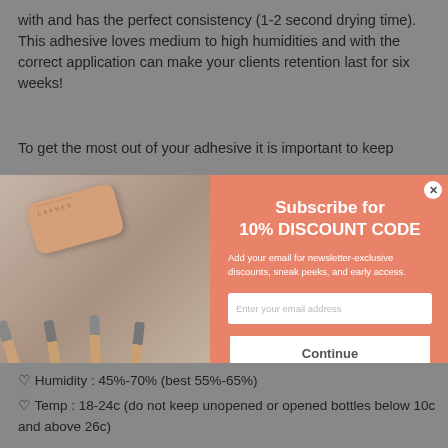with and has the perfect consistency (1-2 second drying time). This adhesive loves medium to high humidities and with the correct application can make your clients retention last for six weeks!
To get the most out of your adhesive it is important to keep
[Figure (screenshot): Modal popup overlay on a grey-background page. Left half shows a product photo of rose-gold tweezers and a case with 'LASHES' branding. Right half is a salmon/coral colored panel with a white title reading 'Subscribe for 10% DISCOUNT CODE', descriptive text 'Add your email for newsletter-exclusive discounts, sneak peeks, and early access.', an email input field, and a Continue button.]
♡ Humidity : 45%-70% (best 55%-65%)
♡ Temp : 18-24c (do not keep unopened or opened bottles below 10c and above 26c)